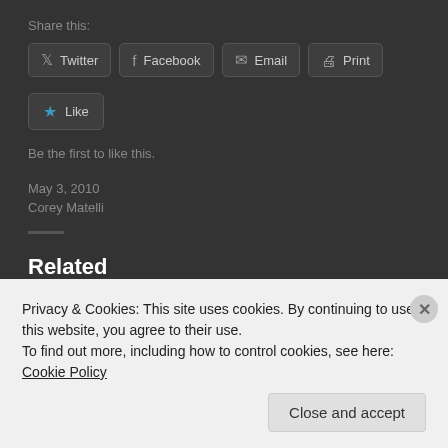Share this:
Twitter  Facebook  Email  Print
Like
Be the first to like this.
May 3, 2010
Corey Matelli
Related
Privacy & Cookies: This site uses cookies. By continuing to use this website, you agree to their use.
To find out more, including how to control cookies, see here: Cookie Policy
Close and accept